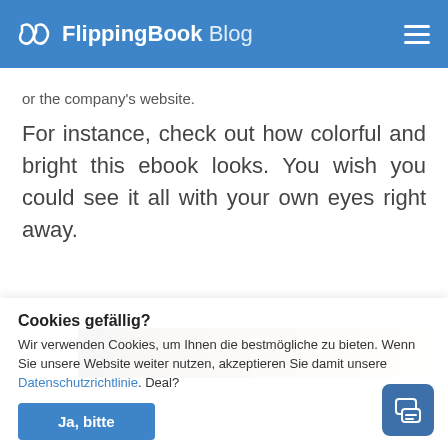FlippingBook Blog
or the company's website.
For instance, check out how colorful and bright this ebook looks. You wish you could see it all with your own eyes right away.
[Figure (photo): Partial view of a person's hair and forehead, cropped at the bottom of the visible page area.]
Cookies gefällig?
Wir verwenden Cookies, um Ihnen die bestmögliche zu bieten. Wenn Sie unsere Website weiter nutzen, akzeptieren Sie damit unsere Datenschutzrichtlinie. Deal?
Ja, bitte